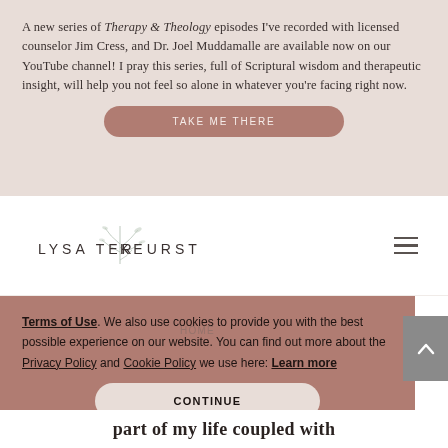A new series of Therapy & Theology episodes I've recorded with licensed counselor Jim Cress, and Dr. Joel Muddamalle are available now on our YouTube channel! I pray this series, full of Scriptural wisdom and therapeutic insight, will help you not feel so alone in whatever you're facing right now.
TAKE ME THERE
[Figure (logo): Lysa TerKeurst website logo with decorative botanical illustration]
Terms of Use. We also use cookies to provide you with the best possible experience on our website. You can find out more about the Privacy Policy and Cookie Policy we use here: Learn more
CONTINUE
part of my life coupled with